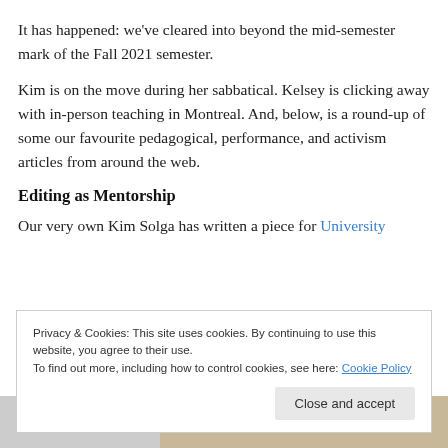It has happened: we've cleared into beyond the mid-semester mark of the Fall 2021 semester.
Kim is on the move during her sabbatical. Kelsey is clicking away with in-person teaching in Montreal. And, below, is a round-up of some our favourite pedagogical, performance, and activism articles from around the web.
Editing as Mentorship
Our very own Kim Solga has written a piece for University
Privacy & Cookies: This site uses cookies. By continuing to use this website, you agree to their use.
To find out more, including how to control cookies, see here: Cookie Policy
[Figure (photo): Partial image of handwritten text visible at the bottom of the page, partially obscured by the cookie banner overlay.]